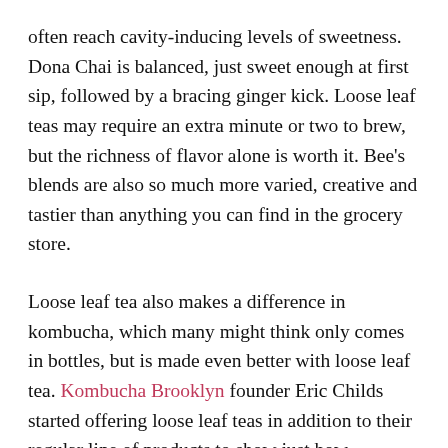often reach cavity-inducing levels of sweetness. Dona Chai is balanced, just sweet enough at first sip, followed by a bracing ginger kick. Loose leaf teas may require an extra minute or two to brew, but the richness of flavor alone is worth it. Bee's blends are also so much more varied, creative and tastier than anything you can find in the grocery store.
Loose leaf tea also makes a difference in kombucha, which many might think only comes in bottles, but is made even better with loose leaf tea. Kombucha Brooklyn founder Eric Childs started offering loose leaf teas in addition to their regular line of products to show just how delicious it can be. As he told us, “For the majority of kombucha brewing history it was taught that by simply putting together a brew of tea, sugar and culture, kombucha could